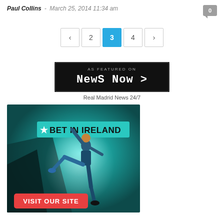Paul Collins - March 25, 2014 11:34 am
< 2 3 4 >
[Figure (logo): News Now 'AS FEATURED ON' badge with black background and dotted border]
Real Madrid News 24/7
[Figure (photo): BET IN IRELAND advertisement showing a footballer kicking with teal/dark background and a red VISIT OUR SITE button]